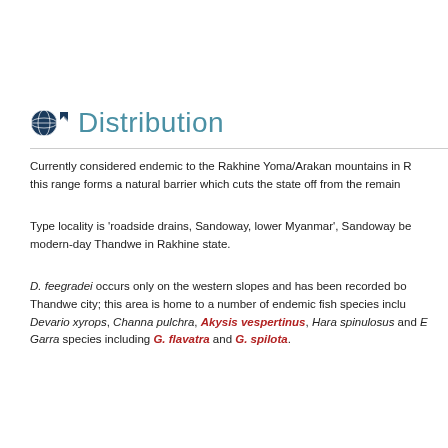Distribution
Currently considered endemic to the Rakhine Yoma/Arakan mountains in R this range forms a natural barrier which cuts the state off from the remain
Type locality is 'roadside drains, Sandoway, lower Myanmar', Sandoway be modern-day Thandwe in Rakhine state.
D. feegradei occurs only on the western slopes and has been recorded bo Thandwe city; this area is home to a number of endemic fish species inclu Devario xyrops, Channa pulchra, Akysis vespertinus, Hara spinulosus and  Garra species including G. flavatra and G. spilota.